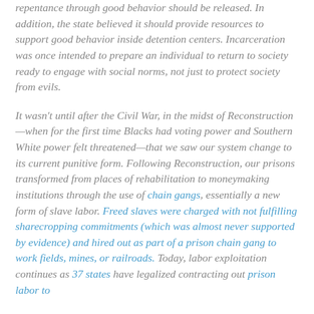repentance through good behavior should be released. In addition, the state believed it should provide resources to support good behavior inside detention centers. Incarceration was once intended to prepare an individual to return to society ready to engage with social norms, not just to protect society from evils.
It wasn't until after the Civil War, in the midst of Reconstruction—when for the first time Blacks had voting power and Southern White power felt threatened—that we saw our system change to its current punitive form. Following Reconstruction, our prisons transformed from places of rehabilitation to moneymaking institutions through the use of chain gangs, essentially a new form of slave labor. Freed slaves were charged with not fulfilling sharecropping commitments (which was almost never supported by evidence) and hired out as part of a prison chain gang to work fields, mines, or railroads. Today, labor exploitation continues as 37 states have legalized contracting out prison labor to